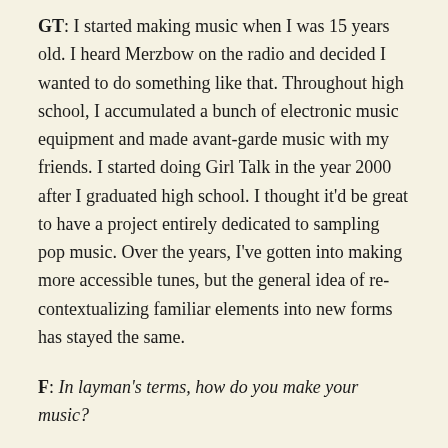GT: I started making music when I was 15 years old. I heard Merzbow on the radio and decided I wanted to do something like that. Throughout high school, I accumulated a bunch of electronic music equipment and made avant-garde music with my friends. I started doing Girl Talk in the year 2000 after I graduated high school. I thought it'd be great to have a project entirely dedicated to sampling pop music. Over the years, I've gotten into making more accessible tunes, but the general idea of re-contextualizing familiar elements into new forms has stayed the same.
F: In layman's terms, how do you make your music?
GT: I sample bits and pieces from songs everyday and then catalog them. When preparing for live shows, I go